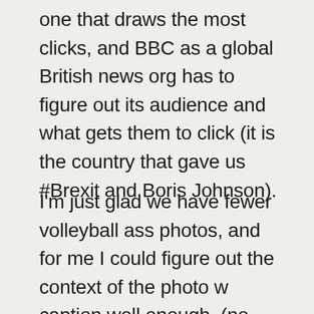one that draws the most clicks, and BBC as a global British news org has to figure out its audience and what gets them to click (it is the country that gave us #Brexit and Boris Johnson).
I'm just glad we have fewer volleyball ass photos, and for me I could figure out the context of the photo w caption well enough. (no, they weren't focused on reporting the German-Egypt match – it was a human interest of changing times, intersection of Mideast